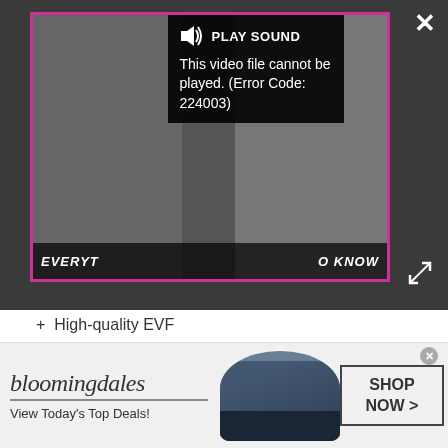[Figure (screenshot): Video player with error overlay. Pink-bordered video frame showing 'EVERYT...O KNOW' text bar at bottom. Dark popup showing speaker icon, PLAY SOUND text, and error message: 'This video file cannot be played. (Error Code: 224003)'. Close button X top-right, expand icon bottom-right.]
+ High-quality EVF
REASONS TO AVOID
- Average battery life
- Pricey for a compact
Sony revolutionized premium compact cameras with the original RX100 as it was the first pocket-sized
[Figure (screenshot): Bloomingdale's advertisement banner. Logo with 'bloomingdales' in italic serif font, underline, 'View Today's Top Deals!' text, woman in large blue hat image, and 'SHOP NOW >' button.]